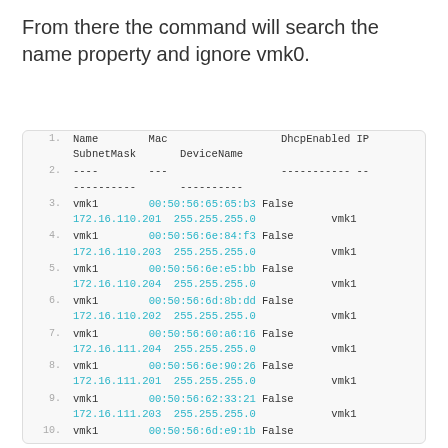From there the command will search the name property and ignore vmk0.
| # | Name | Mac | DhcpEnabled | IP | SubnetMask | DeviceName |
| --- | --- | --- | --- | --- | --- | --- |
| 1. | Name | Mac | DhcpEnabled IP | SubnetMask | DeviceName |  |
| 2. | ---- | --- | ----------- | -- | ---------- | ---------- |
| 3. | vmk1 | 00:50:56:65:65:b3 | False | 172.16.110.201 | 255.255.255.0 | vmk1 |
| 4. | vmk1 | 00:50:56:6e:84:f3 | False | 172.16.110.203 | 255.255.255.0 | vmk1 |
| 5. | vmk1 | 00:50:56:6e:e5:bb | False | 172.16.110.204 | 255.255.255.0 | vmk1 |
| 6. | vmk1 | 00:50:56:6d:8b:dd | False | 172.16.110.202 | 255.255.255.0 | vmk1 |
| 7. | vmk1 | 00:50:56:60:a6:16 | False | 172.16.111.204 | 255.255.255.0 | vmk1 |
| 8. | vmk1 | 00:50:56:6e:90:26 | False | 172.16.111.201 | 255.255.255.0 | vmk1 |
| 9. | vmk1 | 00:50:56:62:33:21 | False | 172.16.111.203 | 255.255.255.0 | vmk1 |
| 10. | vmk1 | 00:50:56:6d:e9:1b | False |  |  |  |